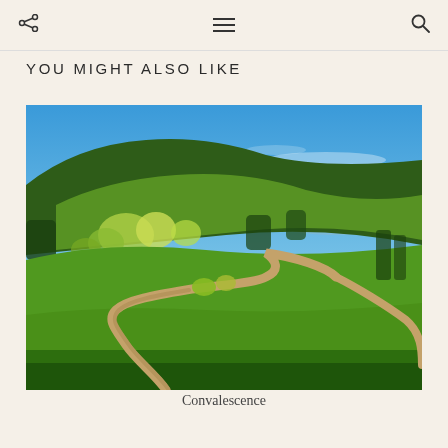YOU MIGHT ALSO LIKE
[Figure (photo): Landscape photograph of a winding dirt path curving through lush green meadows and spring foliage, with forested hills and a blue sky with light clouds in the background.]
Convalescence